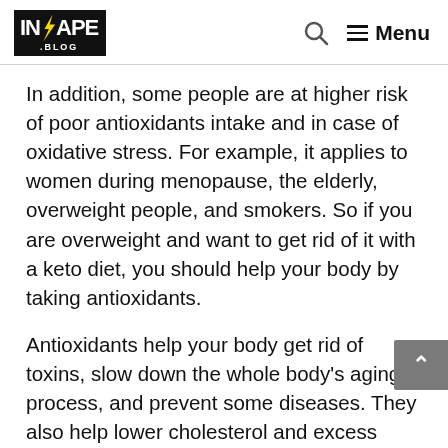INSHAPE .BLOG — Search — Menu
In addition, some people are at higher risk of poor antioxidants intake and in case of oxidative stress. For example, it applies to women during menopause, the elderly, overweight people, and smokers. So if you are overweight and want to get rid of it with a keto diet, you should help your body by taking antioxidants.
Antioxidants help your body get rid of toxins, slow down the whole body's aging process, and prevent some diseases. They also help lower cholesterol and excess sugar levels, reducing the risk of cardiovascular disease. A…